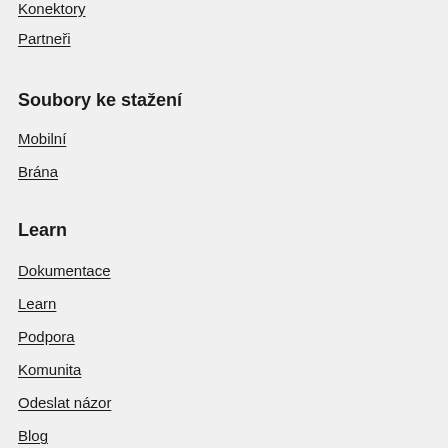Konektory
Partneři
Soubory ke stažení
Mobilní
Brána
Learn
Dokumentace
Learn
Podpora
Komunita
Odeslat názor
Blog